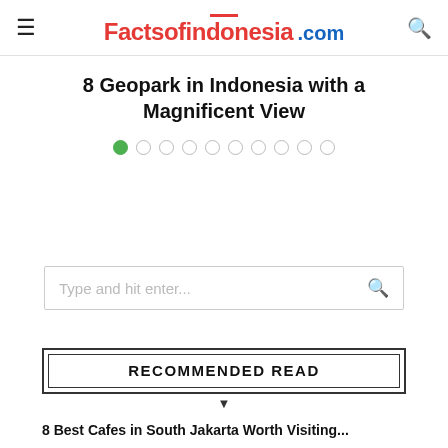Factsofindonesia.com
8 Geopark in Indonesia with a Magnificent View
[Figure (other): Dot navigation carousel indicator with 10 dots, first dot filled green, rest empty circles]
[Figure (other): Search input box with placeholder text 'Type and hit enter...' and a search icon on the right]
RECOMMENDED READ
8 Best Cafes in South Jakarta Worth Visiting...